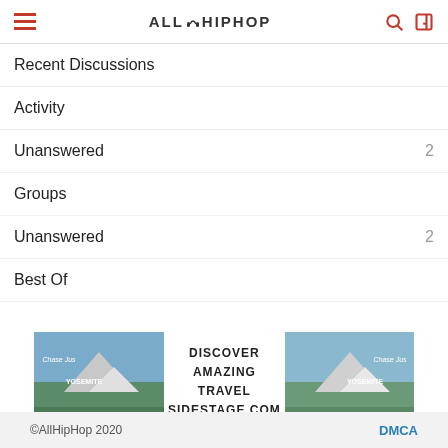ALLHIPHOP
Recent Discussions
Activity
Unanswered  2
Groups
Unanswered  2
Best Of
[Figure (advertisement): Travel advertisement banner for sidestage.com showing Yosemite mountain scenery with text DISCOVER AMAZING TRAVEL SIDESTAGE.COM]
©AllHipHop 2020  DMCA